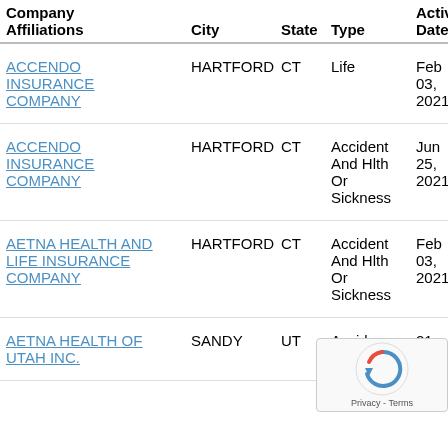| Company Affiliations | City | State | Type | Active Date |
| --- | --- | --- | --- | --- |
| ACCENDO INSURANCE COMPANY | HARTFORD | CT | Life | Feb 03, 2021 |
| ACCENDO INSURANCE COMPANY | HARTFORD | CT | Accident And Hlth Or Sickness | Jun 25, 2021 |
| AETNA HEALTH AND LIFE INSURANCE COMPANY | HARTFORD | CT | Accident And Hlth Or Sickness | Feb 03, 2021 |
| AETNA HEALTH OF UTAH INC. | SANDY | UT | Accident And Hlth... | 21,... |